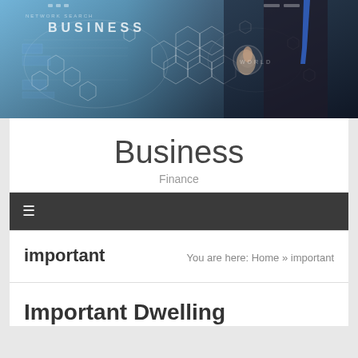[Figure (photo): Business banner image showing a man in a suit with blue tie touching a digital holographic interface with world map and hexagon patterns, with text overlays reading NETWORK SEARCH, BUSINESS, WORLD]
Business
Finance
≡
important
You are here: Home » important
Important Dwelling